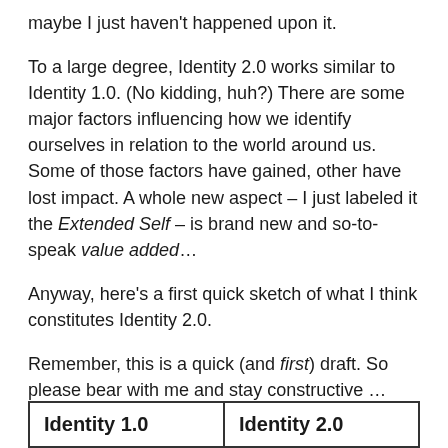maybe I just haven't happened upon it.
To a large degree, Identity 2.0 works similar to Identity 1.0. (No kidding, huh?) There are some major factors influencing how we identify ourselves in relation to the world around us. Some of those factors have gained, other have lost impact. A whole new aspect – I just labeled it the Extended Self – is brand new and so-to-speak value added…
Anyway, here's a first quick sketch of what I think constitutes Identity 2.0.
Remember, this is a quick (and first) draft. So please bear with me and stay constructive …
| Identity 1.0 | Identity 2.0 |
| --- | --- |